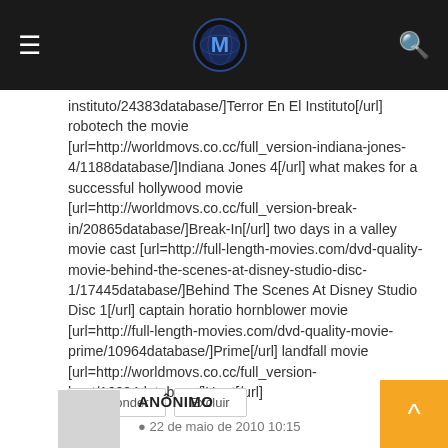Navigation bar with hamburger menu, logo, and search icon
instituto/24383database/]Terror En El Instituto[/url] robotech the movie [url=http://worldmovs.co.cc/full_version-indiana-jones-4/1188database/]Indiana Jones 4[/url] what makes for a successful hollywood movie [url=http://worldmovs.co.cc/full_version-break-in/20865database/]Break-In[/url] two days in a valley movie cast [url=http://full-length-movies.com/dvd-quality-movie-behind-the-scenes-at-disney-studio-disc-1/17445database/]Behind The Scenes At Disney Studio Disc 1[/url] captain horatio hornblower movie [url=http://full-length-movies.com/dvd-quality-movie-prime/10964database/]Prime[/url] landfall movie [url=http://worldmovs.co.cc/full_version-heat/16694database/]Heat[/url]
Responder
Excluir
▼
ANÔNIMO
22 de maio de 2010 10:15